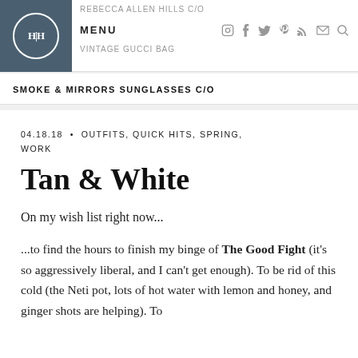REBECCA ALLEN HILLS C/O | MENU | VINTAGE GUCCI BAG
SMOKE & MIRRORS SUNGLASSES C/O
04.18.18 • OUTFITS, QUICK HITS, SPRING, WORK
Tan & White
On my wish list right now...
...to find the hours to finish my binge of The Good Fight (it's so aggressively liberal, and I can't get enough). To be rid of this cold (the Neti pot, lots of hot water with lemon and honey, and ginger shots are helping). To